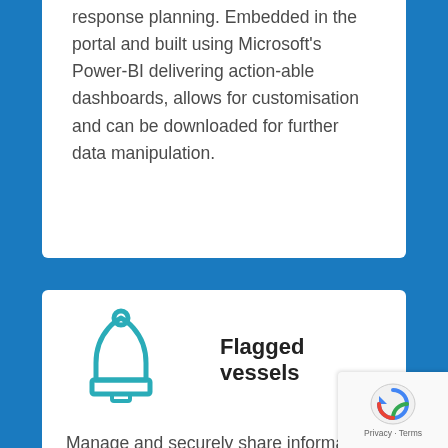response planning. Embedded in the portal and built using Microsoft's Power-BI delivering action-able dashboards, allows for customisation and can be downloaded for further data manipulation.
[Figure (illustration): Bell/notification icon in teal outline style]
Flagged vessels
Manage and securely share information with